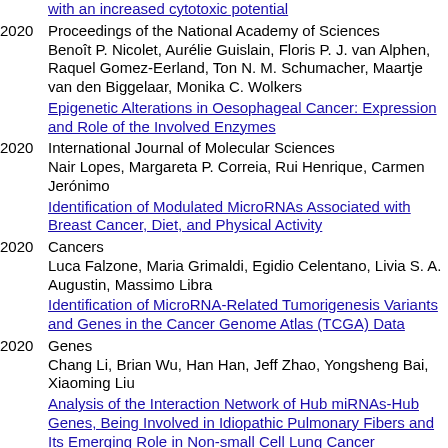with an increased cytotoxic potential [link]
2020 | Proceedings of the National Academy of Sciences | Benoît P. Nicolet, Aurélie Guislain, Floris P. J. van Alphen, Raquel Gomez-Eerland, Ton N. M. Schumacher, Maartje van den Biggelaar, Monika C. Wolkers
Epigenetic Alterations in Oesophageal Cancer: Expression and Role of the Involved Enzymes [link]
2020 | International Journal of Molecular Sciences | Nair Lopes, Margareta P. Correia, Rui Henrique, Carmen Jerónimo
Identification of Modulated MicroRNAs Associated with Breast Cancer, Diet, and Physical Activity [link]
2020 | Cancers | Luca Falzone, Maria Grimaldi, Egidio Celentano, Livia S. A. Augustin, Massimo Libra
Identification of MicroRNA-Related Tumorigenesis Variants and Genes in the Cancer Genome Atlas (TCGA) Data [link]
2020 | Genes | Chang Li, Brian Wu, Han Han, Jeff Zhao, Yongsheng Bai, Xiaoming Liu
Analysis of the Interaction Network of Hub miRNAs-Hub Genes, Being Involved in Idiopathic Pulmonary Fibers and Its Emerging Role in Non-small Cell Lung Cancer [link]
2020 | Frontiers in Genetics